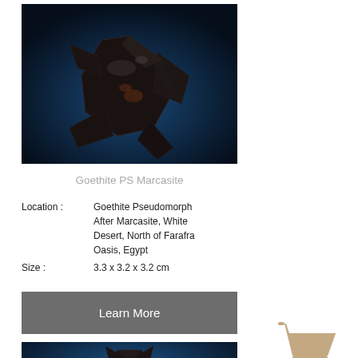[Figure (photo): Goethite pseudomorph after Marcasite mineral specimen — dark metallic star-shaped crystal against a dark blue gradient background]
Goethite PS Marcasite
Location : Goethite Pseudomorph After Marcasite, White Desert, North of Farafra Oasis, Egypt
Size : 3.3 x 3.2 x 3.2 cm
[Figure (other): Learn More button (gray rectangle)]
[Figure (photo): Partial mineral specimen photo at bottom, dark blue background]
[Figure (illustration): Shopping cart icon in tan/beige color]